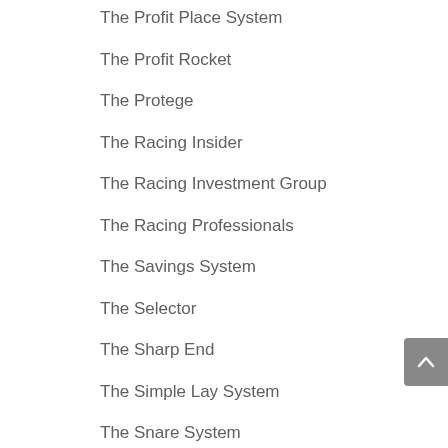The Profit Place System
The Profit Rocket
The Protege
The Racing Insider
The Racing Investment Group
The Racing Professionals
The Savings System
The Selector
The Sharp End
The Simple Lay System
The Snare System
The Sniper
The Specialist
The Syndicate